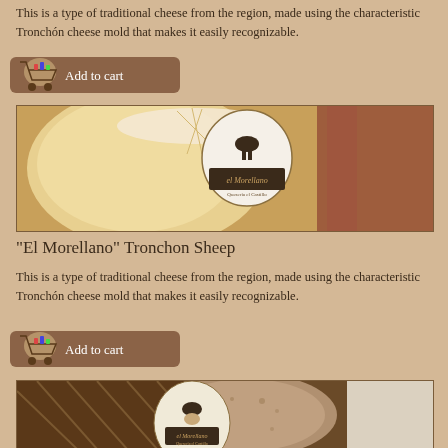This is a type of traditional cheese from the region, made using the characteristic Tronchón cheese mold that makes it easily recognizable.
[Figure (illustration): Add to cart button with shopping cart icon]
[Figure (photo): Close-up photo of El Morellano Tronchon cheese with label tag showing 'el Morellano']
"El Morellano" Tronchon Sheep
This is a type of traditional cheese from the region, made using the characteristic Tronchón cheese mold that makes it easily recognizable.
[Figure (illustration): Add to cart button with shopping cart icon]
[Figure (photo): Close-up photo of El Morellano cheese with label tag, showing fuzzy rind texture]